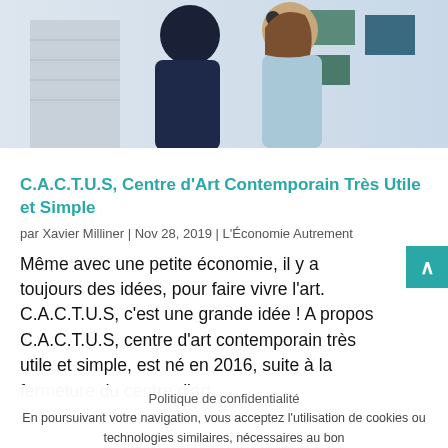[Figure (photo): Two people photographed from behind, one holding a microphone, in what appears to be an art gallery or interior space with stairs and artwork on walls.]
C.A.C.T.U.S, Centre d'Art Contemporain Très Utile et Simple
par Xavier Milliner | Nov 28, 2019 | L'Économie Autrement
Même avec une petite économie, il y a toujours des idées, pour faire vivre l'art. C.A.C.T.U.S, c'est une grande idée ! A propos C.A.C.T.U.S, centre d'art contemporain très utile et simple, est né en 2016, suite à la fermeture du centre d'art…
Politique de confidentialité
En poursuivant votre navigation, vous acceptez l'utilisation de cookies ou technologies similaires, nécessaires au bon